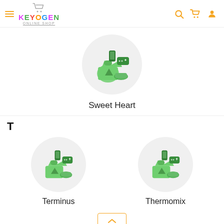[Figure (logo): Keyogen Online Shop logo with colorful letters and shopping cart icon]
[Figure (illustration): Sweet Heart brand circle icon with green t-shirt, sneakers, gamepad and phone]
Sweet Heart
T
[Figure (illustration): Terminus brand circle icon with green t-shirt, sneakers, gamepad and phone]
Terminus
[Figure (illustration): Thermomix brand circle icon with green t-shirt, sneakers, gamepad and phone]
Thermomix